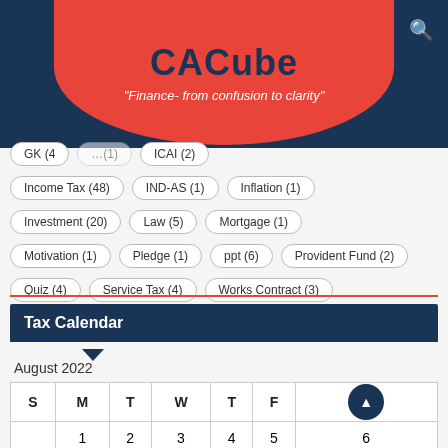CACube
"Finance- from confusion to clarity"
GK (4)
(1)
ICAI (2)
Income Tax (48)
IND-AS (1)
Inflation (1)
Investment (20)
Law (5)
Mortgage (1)
Motivation (1)
Pledge (1)
ppt (6)
Provident Fund (2)
Quiz (4)
Service Tax (4)
Works Contract (3)
Tax Calendar
August 2022
| S | M | T | W | T | F | S |
| --- | --- | --- | --- | --- | --- | --- |
|  | 1 | 2 | 3 | 4 | 5 | 6 |